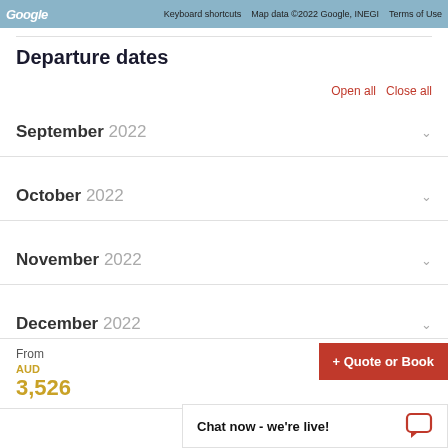[Figure (screenshot): Google Maps toolbar showing keyboard shortcuts and map data copyright notice]
Departure dates
Open all   Close all
September 2022
October 2022
November 2022
December 2022
January 2023
From
AUD
3,526
+ Quote or Book
Chat now - we're live!